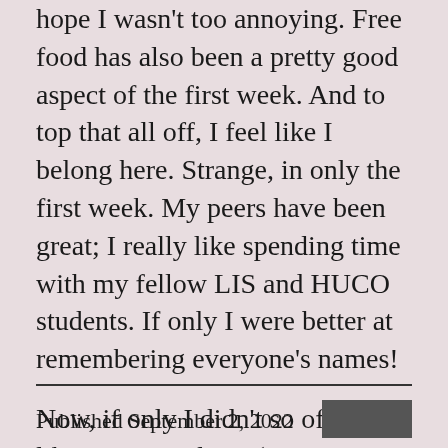hope I wasn't too annoying. Free food has also been a pretty good aspect of the first week. And to top that all off, I feel like I belong here. Strange, in only the first week. My peers have been great; I really like spending time with my fellow LIS and HUCO students. If only I were better at remembering everyone's names!

Now, if only I didn't so often feel like I were melting (it's warm in SLIS)... 😉
Published September 2, 2022